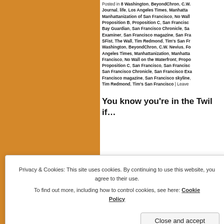Posted in 8 Washington, BeyondChron, C.W. Nevius, Forbes, Journal, life, Los Angeles Times, Manhattan, Manhattanization of San Francisco, No Wall, Proposition B, Proposition C, San Francisco Bay Guardian, San Francisco Chronicle, San Francisco Examiner, San Francisco magazine, San Francisco, SFist, The Wall, Tim Redmond, Tim's San Francisco, Washington, BeyondChron, C.W. Nevius, Forbes, Los Angeles Times, Manhattanization, Manhattanization of San Francisco, No Wall on the Waterfront, Proposition B, Proposition C, San Francisco, San Francisco Chronicle, San Francisco Examiner, San Francisco magazine, San Francisco skyline, Tim Redmond, Tim's San Francisco | Leave
You know you're in the Twil if...
Privacy & Cookies: This site uses cookies. By continuing to use this website, you agree to their use. To find out more, including how to control cookies, see here: Cookie Policy